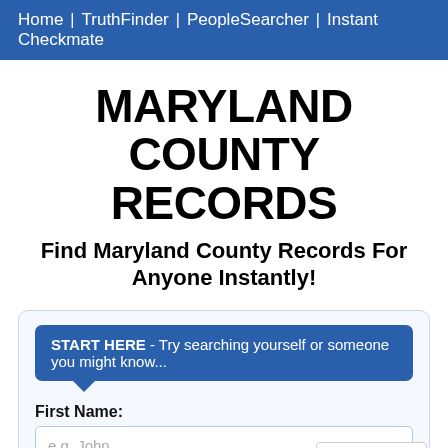Home | TruthFinder | PeopleSearcher | Instant Checkmate
MARYLAND COUNTY RECORDS
Find Maryland County Records For Anyone Instantly!
START HERE - Try searching yourself or someone you might know...
First Name:
e.g. John
Last Name: